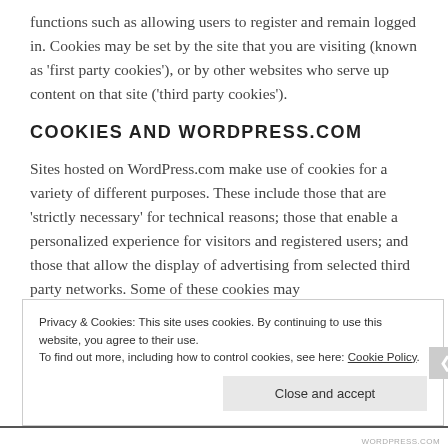functions such as allowing users to register and remain logged in. Cookies may be set by the site that you are visiting (known as ‘first party cookies’), or by other websites who serve up content on that site (‘third party cookies’).
COOKIES AND WORDPRESS.COM
Sites hosted on WordPress.com make use of cookies for a variety of different purposes. These include those that are ‘strictly necessary’ for technical reasons; those that enable a personalized experience for visitors and registered users; and those that allow the display of advertising from selected third party networks. Some of these cookies may
Privacy & Cookies: This site uses cookies. By continuing to use this website, you agree to their use.
To find out more, including how to control cookies, see here: Cookie Policy
Close and accept